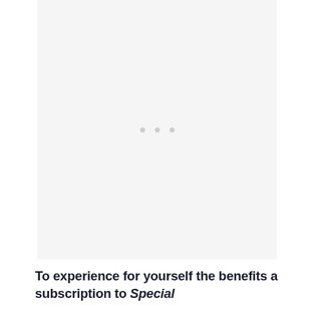[Figure (other): Large light gray placeholder image area with three small gray dots centered in the middle]
To experience for yourself the benefits a subscription to Special